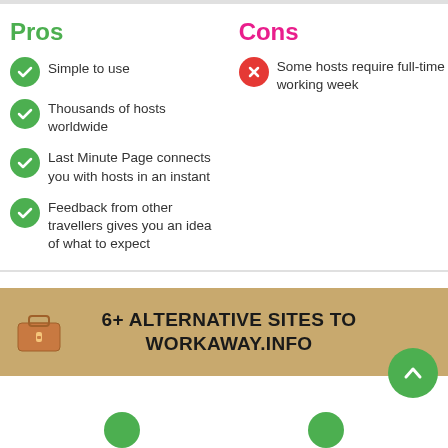Pros
Simple to use
Thousands of hosts worldwide
Last Minute Page connects you with hosts in an instant
Feedback from other travellers gives you an idea of what to expect
Cons
Some hosts require full-time working week
[Figure (infographic): Banner with briefcase icon: '6+ ALTERNATIVE SITES TO WORKAWAY.INFO' on a tan/brown background with a green scroll-up button]
[Figure (infographic): Bottom partial view with two green circles visible at bottom edge]